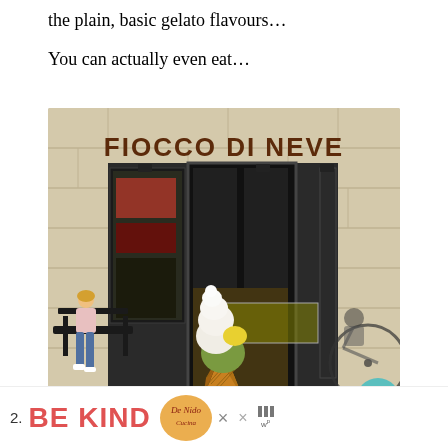the plain, basic gelato flavours…
You can actually even eat…
[Figure (photo): Exterior photo of Fiocco di Neve gelato shop in Rome. Large brown text 'FIOCCO DI NEVE' on stone facade. A large decorative ice cream cone sculpture stands in front. A woman sits on a bench to the left. A cyclist passes on the right. The shop interior shows display cases. A teal search button overlays the bottom-right corner. Watermark reads 'Becky Bacei'.]
2. BE KIND [De Nido logo] × ×